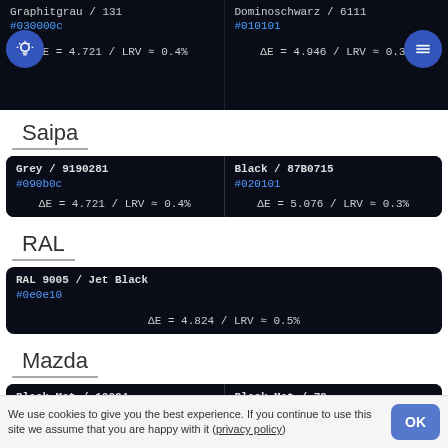Graphitgrau / 131
#030000c
ΔE = 4.721 / LRV ≈ 0.4%
Dominoschwarz / 6111
#010101
ΔE = 4.946 / LRV ≈ 0.3%
Saipa
Grey / 9190281
#090b0c
ΔE = 4.721 / LRV ≈ 0.4%
Black / 87B0715
#020101
ΔE = 5.076 / LRV ≈ 0.3%
RAL
RAL 9005 / Jet Black
#0e0e10
ΔE = 4.824 / LRV ≈ 0.5%
Mazda
Black Mat / 10024
#040404
ΔE = 4.830 / LRV ≈ 0.3%
Black Mat / 79
#000000 / #000
ΔE = 5.014 / LRV ≈ 0.3%
We use cookies to give you the best experience. If you continue to use this site we assume that you are happy with it (privacy policy)